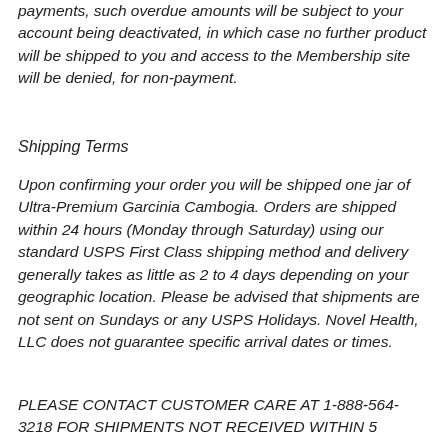payments, such overdue amounts will be subject to your account being deactivated, in which case no further product will be shipped to you and access to the Membership site will be denied, for non-payment.
Shipping Terms
Upon confirming your order you will be shipped one jar of Ultra-Premium Garcinia Cambogia. Orders are shipped within 24 hours (Monday through Saturday) using our standard USPS First Class shipping method and delivery generally takes as little as 2 to 4 days depending on your geographic location. Please be advised that shipments are not sent on Sundays or any USPS Holidays. Novel Health, LLC does not guarantee specific arrival dates or times.
PLEASE CONTACT CUSTOMER CARE AT 1-888-564-3218 FOR SHIPMENTS NOT RECEIVED WITHIN 5